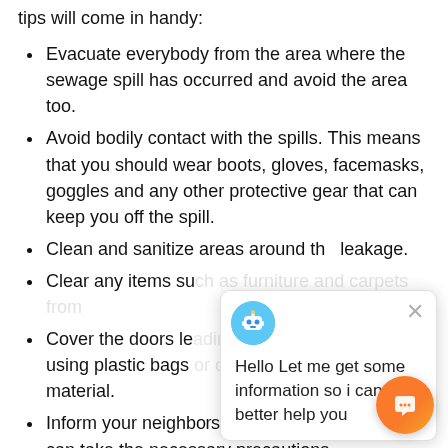tips will come in handy:
Evacuate everybody from the area where the sewage spill has occurred and avoid the area too.
Avoid bodily contact with the spills. This means that you should wear boots, gloves, facemasks, goggles and any other protective gear that can keep you off the spill.
Clean and sanitize areas around the leakage.
Clear any items su[obscured by chat widget]
Cover the doors le[obscured] using plastic bags [obscured] material.
Inform your neighbors about the spill so that they can take the necessary precautions.
When the professional clean up experts arriv[e it is] advisable to evacuate the premises so as to mak[e]